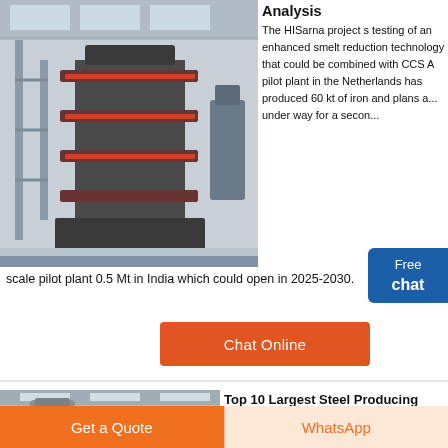Analysis
[Figure (photo): Industrial machinery inside a large warehouse/factory — a multi-tiered heavy press or reactor structure with red and black steel components, scaffolding visible in the background.]
The HISarna project s testing of an enhanced smelt reduction technology that could be combined with CCS A pilot plant in the Netherlands has produced 60 kt of iron and plans are under way for a second scale pilot plant 0.5 Mt in India which could open in 2025-2030.
[Figure (photo): Interior of an industrial facility showing large grey ducts and pipework, dust collection or filtration equipment suspended from the ceiling.]
Top 10 Largest Steel Producing Companies in the World
It is located in hangjiagang Jiangsu China was formed in